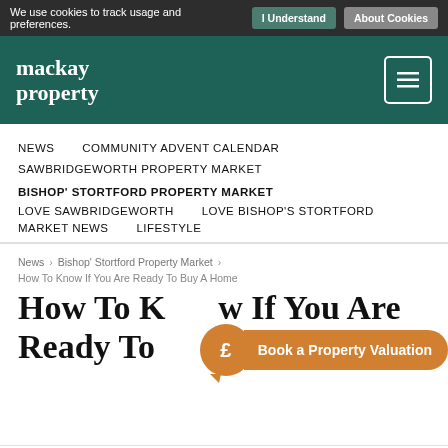We use cookies to track usage and preferences. I Understand  About Cookies
[Figure (logo): Mackay Property logo - white serif text on teal background with hamburger menu icon]
NEWS
COMMUNITY ADVENT CALENDAR
SAWBRIDGEWORTH PROPERTY MARKET
BISHOP' STORTFORD PROPERTY MARKET
LOVE SAWBRIDGEWORTH
LOVE BISHOP'S STORTFORD
MARKET NEWS
LIFESTYLE
News > Bishop' Stortford Property Market > How To Know If You Are Ready To Buy A Home
How To Know If You Are Ready To Buy A Home
[Figure (infographic): Orange speech bubble with pound sign icon and 'Book a Property Valuation' call-to-action button]